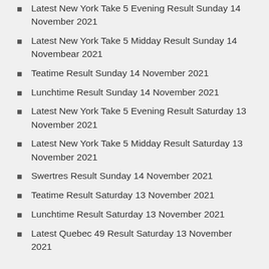Latest New York Take 5 Evening Result Sunday 14 November 2021
Latest New York Take 5 Midday Result Sunday 14 Novembear 2021
Teatime Result Sunday 14 November 2021
Lunchtime Result Sunday 14 November 2021
Latest New York Take 5 Evening Result Saturday 13 November 2021
Latest New York Take 5 Midday Result Saturday 13 November 2021
Swertres Result Sunday 14 November 2021
Teatime Result Saturday 13 November 2021
Lunchtime Result Saturday 13 November 2021
Latest Quebec 49 Result Saturday 13 November 2021